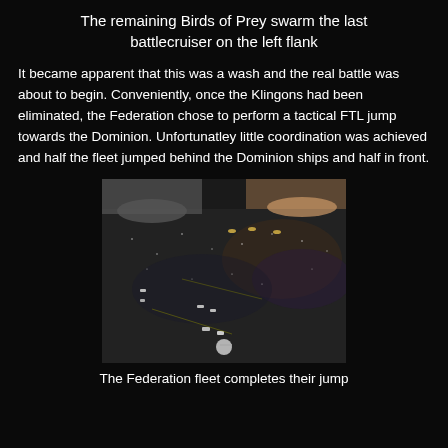The remaining Birds of Prey swarm the last battlecruiser on the left flank
It became apparent that this was a wash and the real battle was about to begin. Conveniently, once the Klingons had been eliminated, the Federation chose to perform a tactical FTL jump towards the Dominion. Unfortunatley little coordination was achieved and half the fleet jumped behind the Dominion ships and half in front.
[Figure (photo): Photo of a Star Trek miniatures wargame in progress on a dark space-themed game board, with miniature ships arranged across the table and players' hands visible in the background.]
The Federation fleet completes their jump